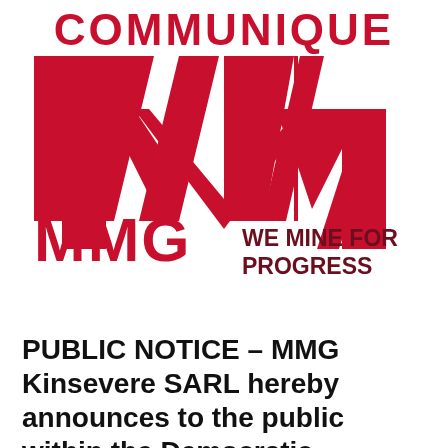COMMUNIQUE
[Figure (logo): MMG logo with stylized red M letterform above text 'MMG' and tagline 'WE MINE FOR PROGRESS' in dark red]
PUBLIC NOTICE – MMG Kinsevere SARL hereby announces to the public within the Democratic Republic of Congo that the following